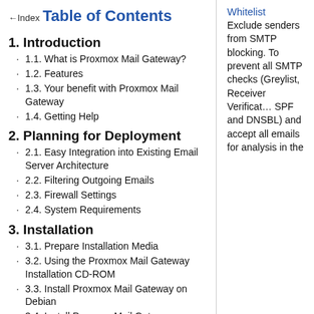←Index
Table of Contents
1. Introduction
1.1. What is Proxmox Mail Gateway?
1.2. Features
1.3. Your benefit with Proxmox Mail Gateway
1.4. Getting Help
2. Planning for Deployment
2.1. Easy Integration into Existing Email Server Architecture
2.2. Filtering Outgoing Emails
2.3. Firewall Settings
2.4. System Requirements
3. Installation
3.1. Prepare Installation Media
3.2. Using the Proxmox Mail Gateway Installation CD-ROM
3.3. Install Proxmox Mail Gateway on Debian
3.4. Install Proxmox Mail Gateway as
Whitelist Exclude senders from SMTP blocking. To prevent all SMTP checks (Greylist, Receiver Verification, SPF and DNSBL) and accept all emails for analysis in the